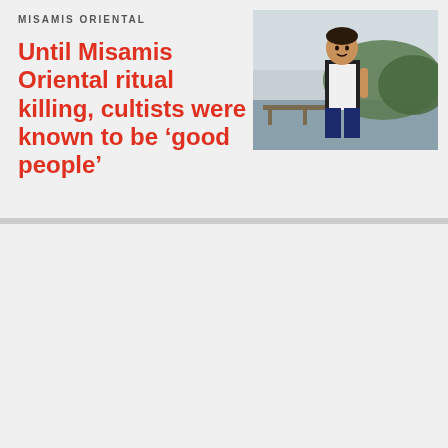MISAMIS ORIENTAL
Until Misamis Oriental ritual killing, cultists were known to be ‘good people’
[Figure (photo): Young man in white t-shirt and dark pants standing by a waterfront with trees and water in background]
Reasons why Eye Mo Daily Care should be part of your ‘tito/tita’ kit
[Figure (logo): Rappler R logo in red/orange circular design]